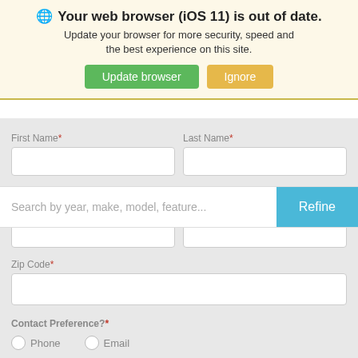Your web browser (iOS 11) is out of date.
Update your browser for more security, speed and the best experience on this site.
Update browser | Ignore
First Name*
Last Name*
Search by year, make, model, feature... Refine
Zip Code*
Contact Preference?*
Phone
Email